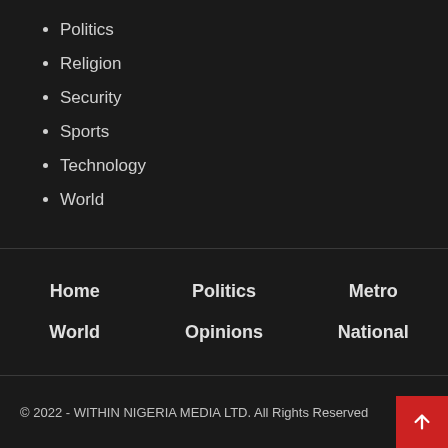Politics
Religion
Security
Sports
Technology
World
Home   Politics   Metro   World   Opinions   National
© 2022 - WITHIN NIGERIA MEDIA LTD. All Rights Reserved